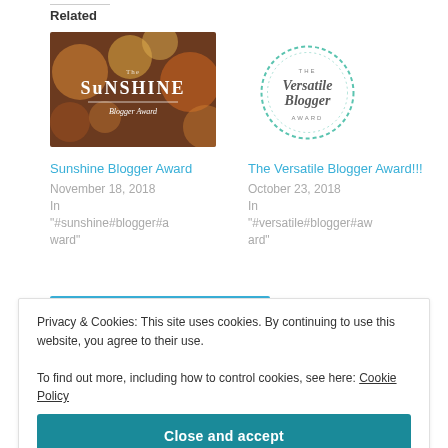Related
[Figure (photo): Sunshine Blogger Award image with colorful bokeh background and white text overlay]
Sunshine Blogger Award
November 18, 2018
In "#sunshine#blogger#award"
[Figure (logo): The Versatile Blogger Award logo: circular dashed border with script text inside]
The Versatile Blogger Award!!!
October 23, 2018
In "#versatile#blogger#award"
Privacy & Cookies: This site uses cookies. By continuing to use this website, you agree to their use.
To find out more, including how to control cookies, see here: Cookie Policy
Close and accept